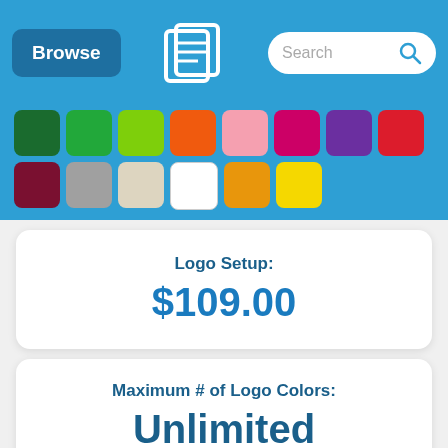Browse | [logo] | Search
[Figure (infographic): Color swatches in a grid: dark green, green, lime green, orange, pink, magenta, purple, red, dark red, gray, beige, white, amber/orange, yellow]
Logo Setup: $109.00
Maximum # of Logo Colors: Unlimited